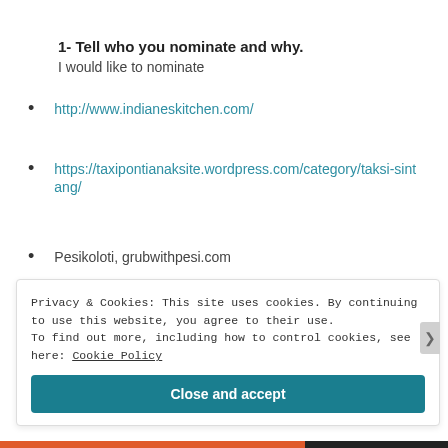1- Tell who you nominate and why.
I would like to nominate
http://www.indianeskitchen.com/
https://taxipontianaksite.wordpress.com/category/taksi-sintang/
Pesikoloti, grubwithpesi.com
Privacy & Cookies: This site uses cookies. By continuing to use this website, you agree to their use.
To find out more, including how to control cookies, see here: Cookie Policy
Close and accept